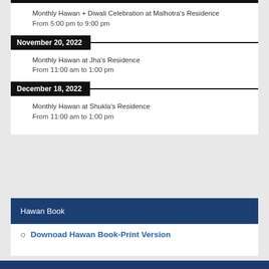Monthly Hawan + Diwali Celebration at Malhotra's Residence
From 5:00 pm to 9:00 pm
November 20, 2022
Monthly Hawan at Jha's Residence
From 11:00 am to 1:00 pm
December 18, 2022
Monthly Hawan at Shukla's Residence
From 11:00 am to 1:00 pm
Hawan Book
Download Hawan Book-Print Version